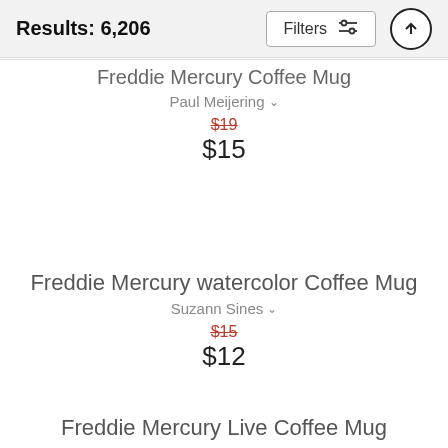Results: 6,206
Freddie Mercury Coffee Mug
Paul Meijering
$19 $15
Freddie Mercury watercolor Coffee Mug
Suzann Sines
$15 $12
Freddie Mercury Live Coffee Mug